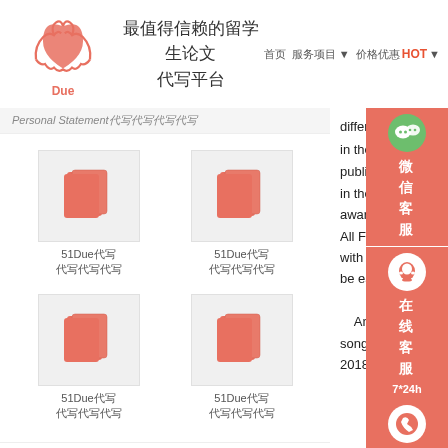[Figure (logo): Due logo with heart hands in salmon/orange color with text 'Due' below]
最值得信赖的留学生论文代写平台
首页  服务项目 ▼  价格优惠 ▼  HOT
Personal Statement代写代写代写代写
[Figure (illustration): Four book icons in a 2x2 grid, each labeled 51Due代写 with Chinese subtitle]
51Due代写
代写代写代写
51Due代写
代写代写代写
51Due代写
代写代写代写
51Due代写
代写代写代写
代写代写代写代
代写代写代写代写代写代写
代写代写代写代写代写代写
代写代写代写代写代写代写
different positions in the 21st century public at a period in the last year aware of his own All Falls Down with his music be easily predicted. And then the song is applied 2018). There is
[Figure (screenshot): WeChat customer service sidebar with green WeChat icon, QQ icon, and 7*24h label]
微信客服
在线客服
7*24h